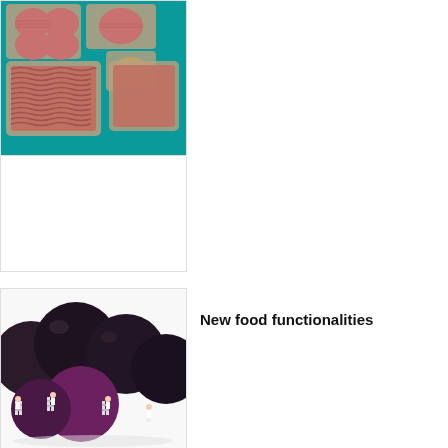[Figure (photo): Aerial view of packaged raw meat products — burger patties and minced/ground beef in trays on a teal/green background]
[Figure (photo): White/blank placeholder image below the meat photo]
[Figure (photo): Miniature figurines of workers painting large dark spherical onions/fruits — creative food art photography]
New food functionalities